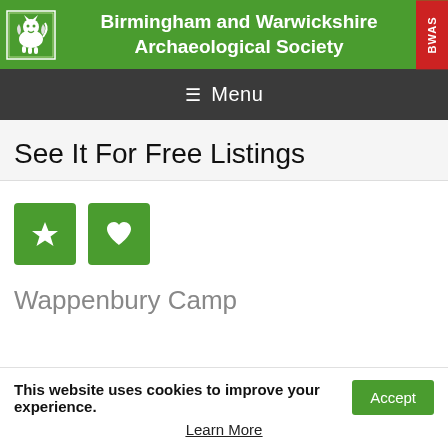Birmingham and Warwickshire Archaeological Society
≡ Menu
See It For Free Listings
[Figure (other): Two green square icon buttons: a star icon and a heart icon]
Wappenbury Camp
This website uses cookies to improve your experience.
Learn More